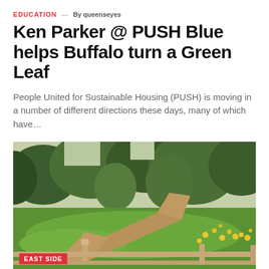EDUCATION — By queenseyes
Ken Parker @ PUSH Blue helps Buffalo turn a Green Leaf
People United for Sustainable Housing (PUSH) is moving in a number of different directions these days, many of which have…
[Figure (photo): A green field with dirt paths and yellow wildflowers, wooden fence in foreground, trees in background. Labeled EAST SIDE.]
EAST SIDE — By queenseyes